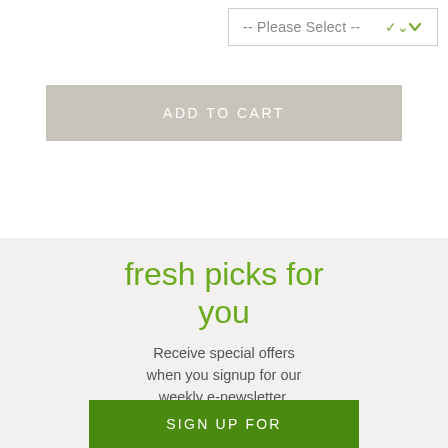[Figure (screenshot): Dropdown selector showing '-- Please Select --' with a green chevron on the right, bordered box, white background]
[Figure (screenshot): Greyed-out 'ADD TO CART' button with light beige-grey background and white uppercase text]
fresh picks for you
Receive special offers when you signup for our weekly e-newsletter.
[Figure (screenshot): Green 'SIGN UP FOR' button partially visible at the bottom of the page]